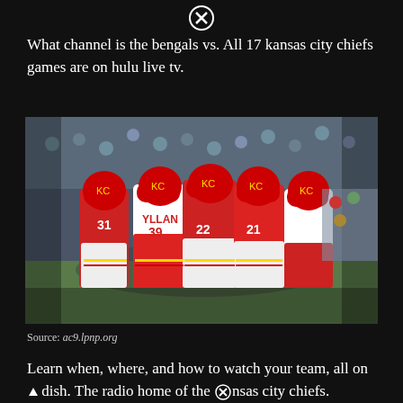[Figure (other): Close button X icon at top center]
What channel is the bengals vs. All 17 kansas city chiefs games are on hulu live tv.
[Figure (photo): Kansas City Chiefs football players in red and white uniforms huddling on the field with a crowd in the background]
Source: ac9.lpnp.org
Learn when, where, and how to watch your team, all on dish. The radio home of the kansas city chiefs.